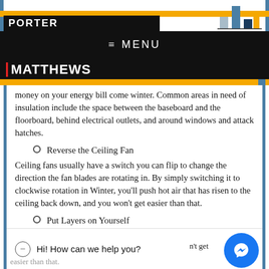PORTER MATTHEWS — MENU
...will save you big money on your energy bill come winter. Common areas in need of insulation include the space between the baseboard and the floorboard, behind electrical outlets, and around windows and attack hatches.
Reverse the Ceiling Fan
Ceiling fans usually have a switch you can flip to change the direction the fan blades are rotating in. By simply switching it to clockwise rotation in Winter, you'll push hot air that has risen to the ceiling back down, and you won't get easier than that.
Put Layers on Yourself